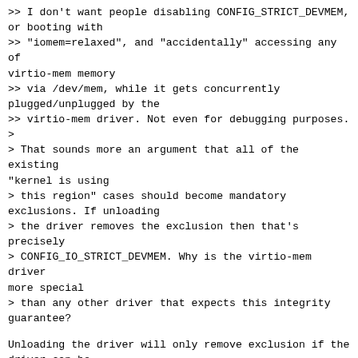>> I don't want people disabling CONFIG_STRICT_DEVMEM, or booting with
>> "iomem=relaxed", and "accidentally" accessing any of virtio-mem memory
>> via /dev/mem, while it gets concurrently plugged/unplugged by the
>> virtio-mem driver. Not even for debugging purposes.
>
> That sounds more an argument that all of the existing "kernel is using
> this region" cases should become mandatory exclusions. If unloading
> the driver removes the exclusion then that's precisely
> CONFIG_IO_STRICT_DEVMEM. Why is the virtio-mem driver more special
> than any other driver that expects this integrity guarantee?
Unloading the driver will only remove exclusion if the driver can be
unloaded cleanly -- if there is no memory added to Linux. Similar to
force-unbinding dax/kmem without offlining memory, the whole device
range will remain excluded.
(unloading the driver is only even implemented because there is no way
to not implement it; there is no sane use case for